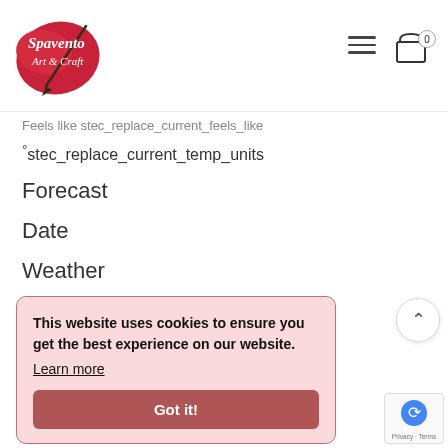[Figure (logo): Spavento Art & Craft logo with red paint splatter and paintbrush]
Feels like stec_replace_current_feels_like
°stec_replace_current_temp_units
Forecast
Date
Weather
This website uses cookies to ensure you get the best experience on our website. Learn more
Got it!